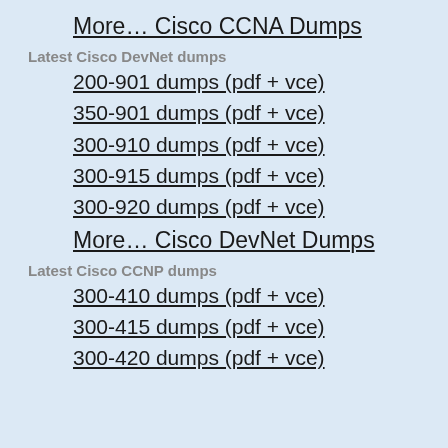More… Cisco CCNA Dumps
Latest Cisco DevNet dumps
200-901 dumps (pdf + vce)
350-901 dumps (pdf + vce)
300-910 dumps (pdf + vce)
300-915 dumps (pdf + vce)
300-920 dumps (pdf + vce)
More… Cisco DevNet Dumps
Latest Cisco CCNP dumps
300-410 dumps (pdf + vce)
300-415 dumps (pdf + vce)
300-420 dumps (pdf + vce)